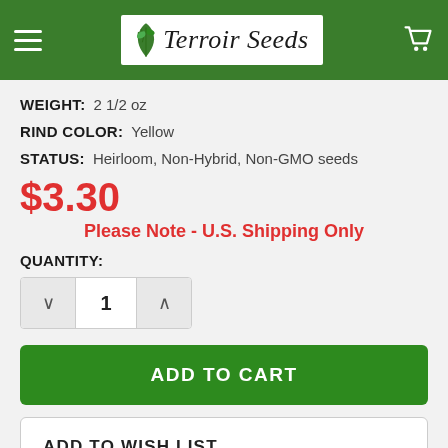Terroir Seeds
WEIGHT: 2 1/2 oz
RIND COLOR: Yellow
STATUS: Heirloom, Non-Hybrid, Non-GMO seeds
$3.30
Please Note - U.S. Shipping Only
QUANTITY:
1
ADD TO CART
ADD TO WISH LIST